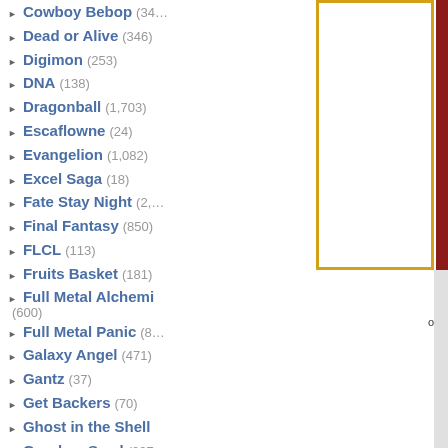Cowboy Bebop (34…)
Dead or Alive (346)
Digimon (253)
DNA (138)
Dragonball (1,703)
Escaflowne (24)
Evangelion (1,082)
Excel Saga (18)
Fate Stay Night (2,…)
Final Fantasy (850)
FLCL (113)
Fruits Basket (181)
Full Metal Alchemi… (600)
Full Metal Panic (8…)
Galaxy Angel (471)
Gantz (37)
Get Backers (70)
Ghost in the Shell
Gundam Seed (297)
Gundam Wing (285)
Gunslinger Girl (59)
Hack Sign (78)
Haibane Renmei (…)
Hamtaro (50)
Hello Kitty (299)
Hellsing (341)
Howls Moving Cas… (60)
Hyper Police (9)
[Figure (photo): Partial view of a photo with red/dark background on far right edge]
o: R…
This wallpaper has no com…